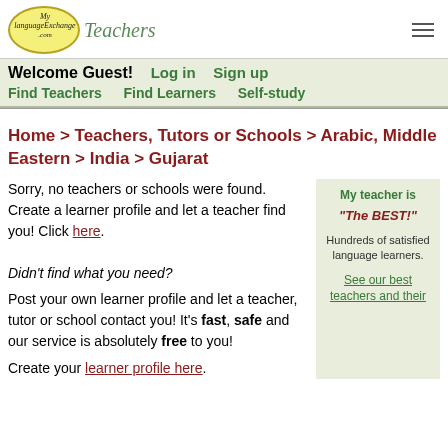[Figure (logo): MyLanguageExchange.com Teachers logo with yellow oval and green italic Teachers text]
Welcome Guest! Log in Sign up
Find Teachers Find Learners Self-study
Home > Teachers, Tutors or Schools > Arabic, Middle Eastern > India > Gujarat
Sorry, no teachers or schools were found. Create a learner profile and let a teacher find you! Click here.
Didn't find what you need?
Post your own learner profile and let a teacher, tutor or school contact you! It's fast, safe and our service is absolutely free to you!
Create your learner profile here.
My teacher is "The BEST!"

Hundreds of satisfied language learners.

See our best teachers and their